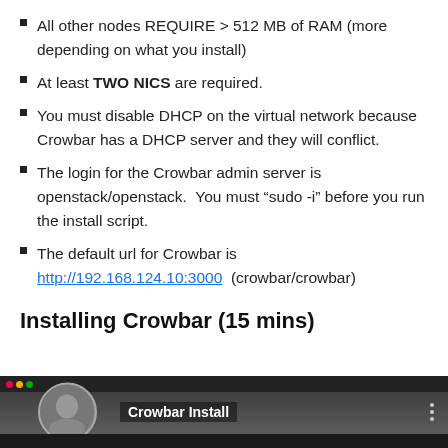All other nodes REQUIRE > 512 MB of RAM (more depending on what you install)
At least TWO NICS are required.
You must disable DHCP on the virtual network because Crowbar has a DHCP server and they will conflict.
The login for the Crowbar admin server is openstack/openstack.  You must “sudo -i” before you run the install script.
The default url for Crowbar is http://192.168.124.10:3000  (crowbar/crowbar)
Installing Crowbar (15 mins)
[Figure (screenshot): Screenshot of a video player showing 'Crowbar Install' with a person visible on the left and a computer desktop in the background.]